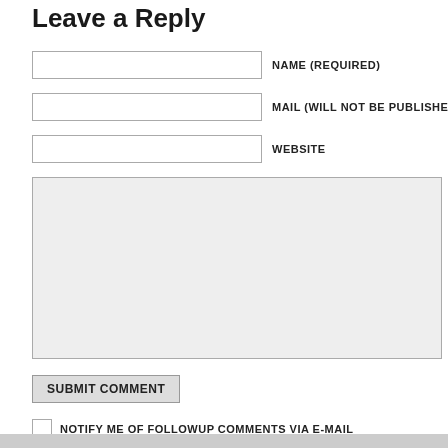Leave a Reply
NAME (REQUIRED)
MAIL (WILL NOT BE PUBLISHED) (REQUIRED)
WEBSITE
SUBMIT COMMENT
NOTIFY ME OF FOLLOWUP COMMENTS VIA E-MAIL